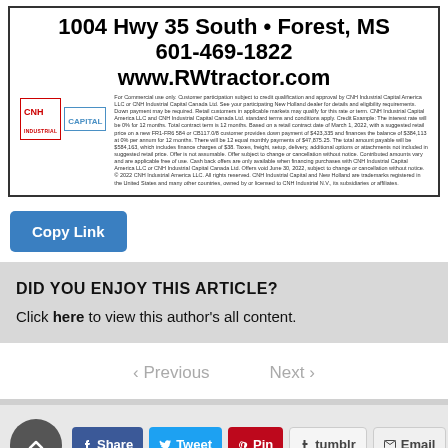[Figure (other): Advertisement box for RW Tractor with address 1004 Hwy 35 South, Forest, MS, phone 601-469-1822, website www.RWtractor.com, CNH Industrial Capital logo, and fine print financing disclaimer text.]
Copy Link
DID YOU ENJOY THIS ARTICLE?
Click here to view this author's all content.
‹ Previous   Next ›
Share  Tweet  Pin  tumblr  Email